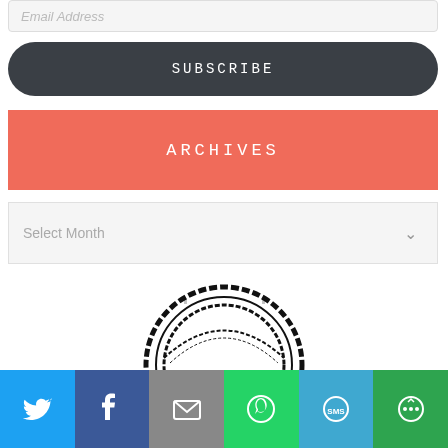Email Address
SUBSCRIBE
ARCHIVES
Select Month
[Figure (logo): FitFluential Ambassador stamp logo — circular stamp design with FITFLUENTIAL AMBASSADOR text in bold rectangular banner]
[Figure (infographic): Social sharing bar with Twitter (blue), Facebook (dark blue), Email (grey), WhatsApp (green), SMS (light blue), and More (green) icons]